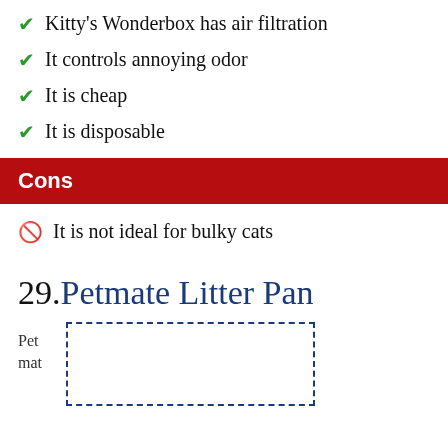Kitty's Wonderbox has air filtration
It controls annoying odor
It is cheap
It is disposable
Cons
It is not ideal for bulky cats
29. Petmate Litter Pan
[Figure (other): Dashed border rectangle placeholder image with 'Pet mat' label to the left]